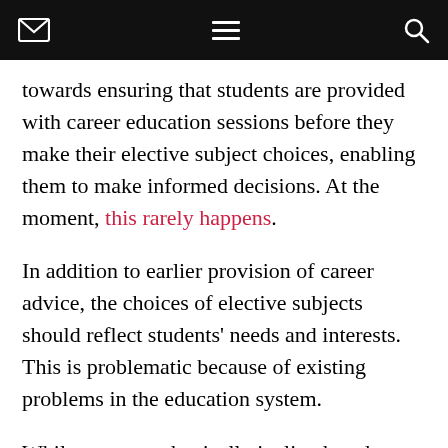[envelope icon] [menu icon] [search icon]
towards ensuring that students are provided with career education sessions before they make their elective subject choices, enabling them to make informed decisions. At the moment, this rarely happens.
In addition to earlier provision of career advice, the choices of elective subjects should reflect students' needs and interests. This is problematic because of existing problems in the education system.
While many academically inclined students are satisfied with traditional academic subjects such as English, history, science and physics, schools in disadvantaged communities must appeal to a